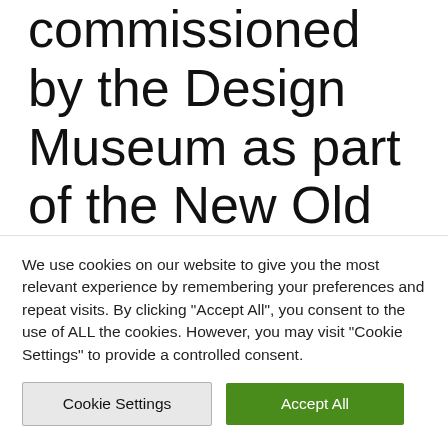commissioned by the Design Museum as part of the New Old exhibition, initially unveiled in London in 2017. The exhibition has been touring around the world
We use cookies on our website to give you the most relevant experience by remembering your preferences and repeat visits. By clicking "Accept All", you consent to the use of ALL the cookies. However, you may visit "Cookie Settings" to provide a controlled consent.